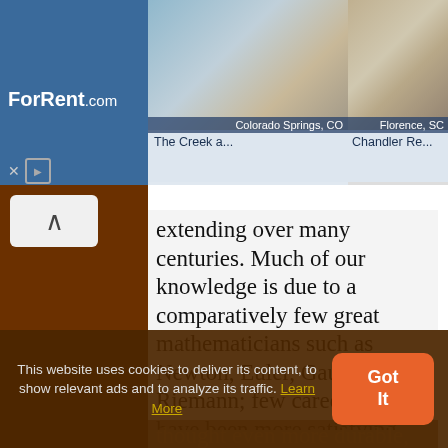[Figure (screenshot): ForRent.com advertisement banner with two apartment photos: Colorado Springs, CO - The Creek a... and Florence, SC - Chandler Re...]
extending over many centuries. Much of our knowledge is due to a comparatively few great mathematicians such as Newton, Euler, Gauss, or Riemann; few careers can have been more satisfying than theirs. They have contributed something to human thought even more durable, since it is independent of language
This website uses cookies to deliver its content, to show relevant ads and to analyze its traffic. Learn More
Got It